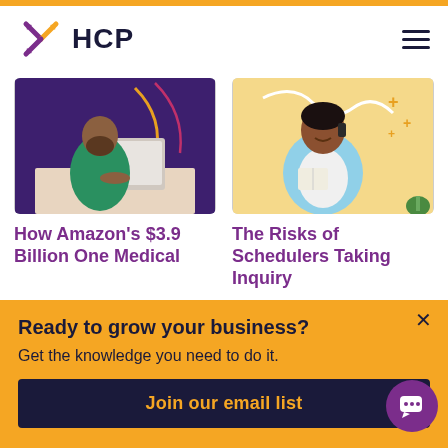[Figure (logo): HCP logo with asterisk/spark icon in purple and yellow, and HCP text in dark navy]
[Figure (photo): Man in green jacket working on laptop at a desk with purple and decorative background]
[Figure (photo): Woman in blue blazer smiling and talking on phone with yellow background and decorative plus signs]
How Amazon's $3.9 Billion One Medical
The Risks of Schedulers Taking Inquiry
Ready to grow your business?
Get the knowledge you need to do it.
Join our email list